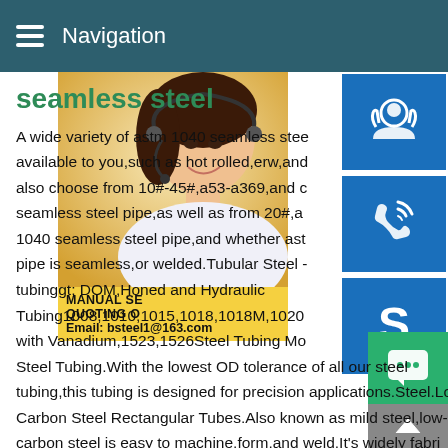Navigation
seamless steel
A wide variety of astm 1040 seamless steel available to you,such as hot rolled,erw,and also choose from 10#-45#,a53-a369,and c seamless steel pipe,as well as from 20#,a 1040 seamless steel pipe,and whether ast pipe is seamless,or welded.Tubular Steel - tubinggt; DOM,Honed and Hydraulic Tubing1008,1010,1015,1018,1018M,1020 with Vanadium,1523,1526Steel Tubing Mo Steel Tubing.With the lowest OD tolerance of all our steel tubing,this tubing is designed for precision applications.Steel.Low-Carbon Steel Rectangular Tubes.Also known as mild steel,low-carbon steel is easy to machine,form,and weld.It's widely fabri into
[Figure (photo): Woman with headset customer service representative photo with blue icon buttons for customer support, phone/skype contact, and a yellow info box showing MANUAL SERVICE, QUOTING OPTIONS, and Email: bsteel1@163.com. Green chat button and gray up arrow at bottom right.]